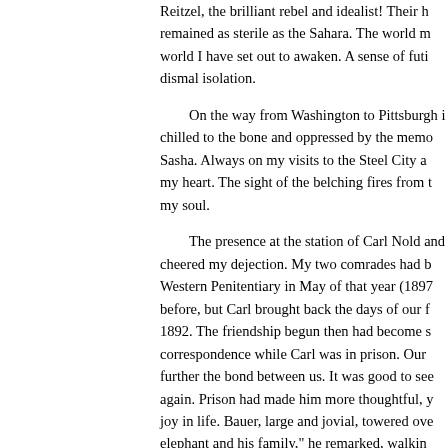Reitzel, the brilliant rebel and idealist! Their h remained as sterile as the Sahara. The world m world I have set out to awaken. A sense of futi dismal isolation.
On the way from Washington to Pittsburgh i chilled to the bone and oppressed by the memo Sasha. Always on my visits to the Steel City a my heart. The sight of the belching fires from t my soul.
The presence at the station of Carl Nold and cheered my dejection. My two comrades had b Western Penitentiary in May of that year (1897 before, but Carl brought back the days of our f 1892. The friendship begun then had become s correspondence while Carl was in prison. Our further the bond between us. It was good to see again. Prison had made him more thoughtful, y joy in life. Bauer, large and jovial, towered ove elephant and his family," he remarked, walkin vainly tried to keep pace with his huge steps.
On my former visits in Pittsburgh I had alwa friend Harry Gordon and his family. Harry was